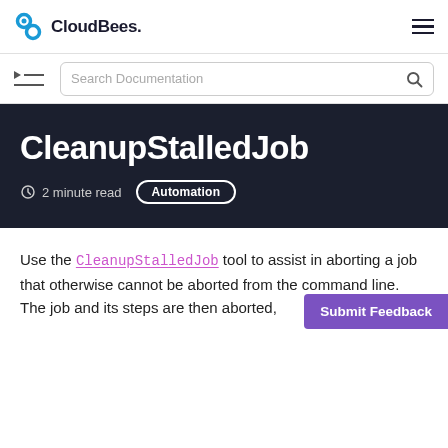CloudBees.
[Figure (screenshot): Search Documentation input box with magnifying glass icon and TOC icon]
CleanupStalledJob
2 minute read  Automation
Use the CleanupStalledJob tool to assist in aborting a job that otherwise cannot be aborted from the command line. The job and its steps are then aborted,